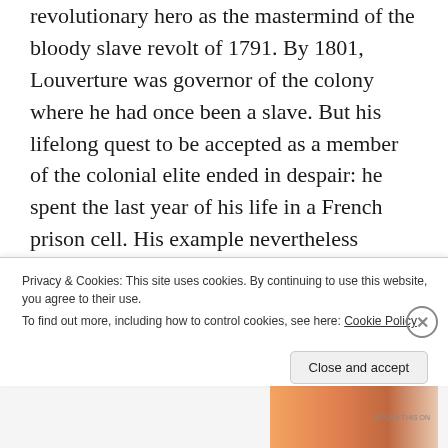revolutionary hero as the mastermind of the bloody slave revolt of 1791. By 1801, Louverture was governor of the colony where he had once been a slave. But his lifelong quest to be accepted as a member of the colonial elite ended in despair: he spent the last year of his life in a French prison cell. His example nevertheless inspired anticolonial and black nationalist movements well into the twentieth century.
Based on voluminous primary-source research,
Privacy & Cookies: This site uses cookies. By continuing to use this website, you agree to their use.
To find out more, including how to control cookies, see here: Cookie Policy
Close and accept